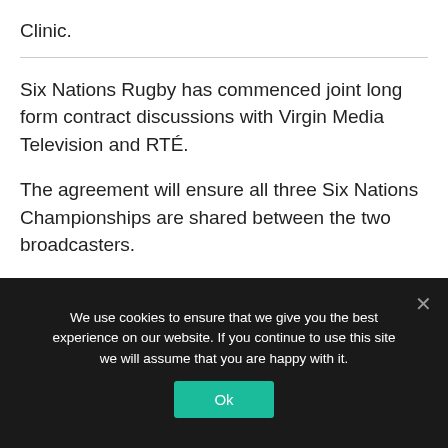Clinic.
Six Nations Rugby has commenced joint long form contract discussions with Virgin Media Television and RTÉ.
The agreement will ensure all three Six Nations Championships are shared between the two broadcasters.
It is envisaged that all three Championships will be shared in a balanced way. It will see RTÉ Sport again broadcast games from the Men's Guinness Six Nations. Virgin Media Television will diversify its coverage to include the Women's
We use cookies to ensure that we give you the best experience on our website. If you continue to use this site we will assume that you are happy with it.